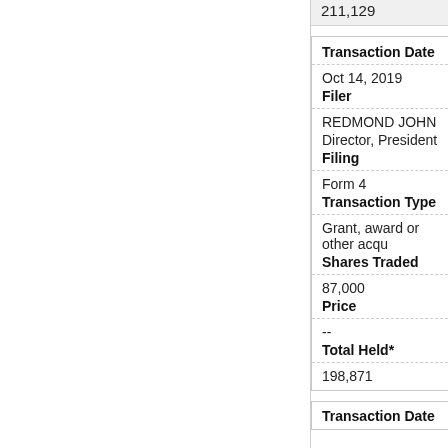| 211,129 |
| Transaction Date | Oct 14, 2019 |
| Filer | REDMOND JOHN
Director, President |
| Filing | Form 4 |
| Transaction Type | Grant, award or other acqu... |
| Shares Traded | 87,000 |
| Price | -- |
| Total Held* | 198,871 |
Transaction Date